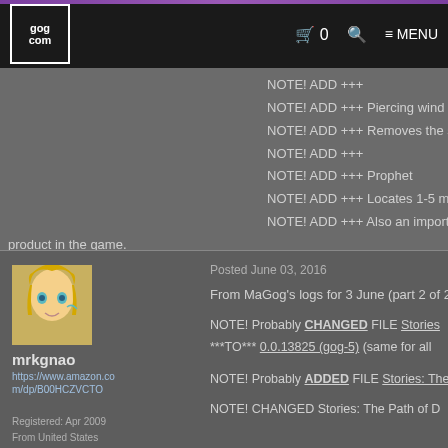GOG.COM — navigation bar with cart, search, menu
NOTE! ADD +++
NOTE! ADD +++ Piercing wind
NOTE! ADD +++ Removes the shield of 1
NOTE! ADD +++
NOTE! ADD +++ Prophet
NOTE! ADD +++ Locates 1-5 monsters or
NOTE! ADD +++ Also an important hidd product in the game.
mrkgnao
https://www.amazon.com/dp/B00HCZVCTO
Registered: Apr 2009
From United States
Posted June 03, 2016
From MaGog's logs for 3 June (part 2 of 2)
NOTE! Probably CHANGED FILE Stories ***TO*** 0.0.13825 (gog-5) (same for all
NOTE! Probably ADDED FILE Stories: The
NOTE! CHANGED Stories: The Path of D